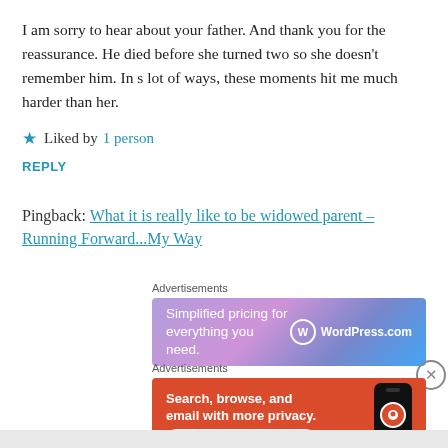I am sorry to hear about your father. And thank you for the reassurance. He died before she turned two so she doesn't remember him. In s lot of ways, these moments hit me much harder than her.
★ Liked by 1 person
REPLY
Pingback: What it is really like to be widowed parent – Running Forward...My Way
[Figure (screenshot): WordPress.com advertisement: 'Simplified pricing for everything you need.' with gradient purple-blue background and WordPress logo]
[Figure (screenshot): DuckDuckGo advertisement: 'Search, browse, and email with more privacy. All in One Free App' with orange background and phone mockup showing DuckDuckGo logo]